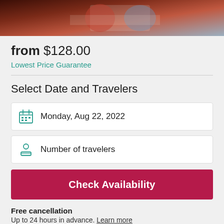[Figure (photo): Banner photo showing people shaking hands, with reddish-brown tones]
from $128.00
Lowest Price Guarantee
Select Date and Travelers
Monday, Aug 22, 2022
Number of travelers
Check Availability
Free cancellation
Up to 24 hours in advance. Learn more